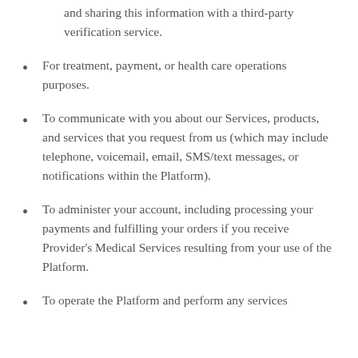and sharing this information with a third-party verification service.
For treatment, payment, or health care operations purposes.
To communicate with you about our Services, products, and services that you request from us (which may include telephone, voicemail, email, SMS/text messages, or notifications within the Platform).
To administer your account, including processing your payments and fulfilling your orders if you receive Provider's Medical Services resulting from your use of the Platform.
To operate the Platform and perform any services